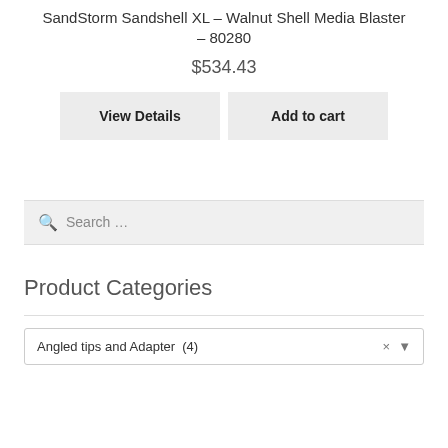SandStorm Sandshell XL – Walnut Shell Media Blaster – 80280
$534.43
View Details | Add to cart
Search…
Product Categories
Angled tips and Adapter  (4)